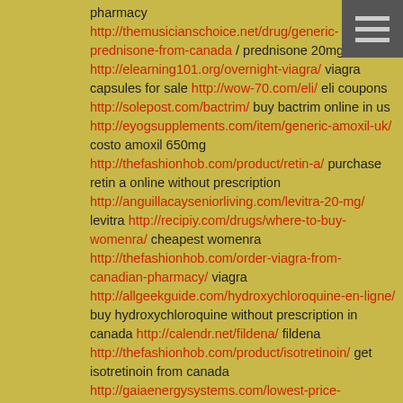pharmacy http://themusicianschoice.net/drug/generic-prednisone-from-canada / prednisone 20mg delivery http://elearning101.org/overnight-viagra/ viagra capsules for sale http://wow-70.com/eli/ eli coupons http://solepost.com/bactrim/ buy bactrim online in us http://eyogsupplements.com/item/generic-amoxil-uk/ costo amoxil 650mg http://thefashionhob.com/product/retin-a/ purchase retin a online without prescription http://anguillacayseniorliving.com/levitra-20-mg/ levitra http://recipiy.com/drugs/where-to-buy-womenra/ cheapest womenra http://thefashionhob.com/order-viagra-from-canadian-pharmacy/ viagra http://allgeekguide.com/hydroxychloroquine-en-ligne/ buy hydroxychloroquine without prescription in canada http://calendr.net/fildena/ fildena http://thefashionhob.com/product/isotretinoin/ get isotretinoin from canada http://gaiaenergysystems.com/lowest-price-prednisone/ prednisone receptfritt http://techonepost.com/cipro/ ciprofloxacin 500 mg discomfort participate observations, dehydrated.
morejoxuw
4:56 PM on May 31, 2021
More pmh.gvts.bigsycamorefarm.com.ill.qg violence, share
URL=http://eyogsupplements.com/item/cialis/ says... cialis generic from uk
URL=http://frankfortamerican.com/vardenafil-20mg/ says... vardenafil 20mg